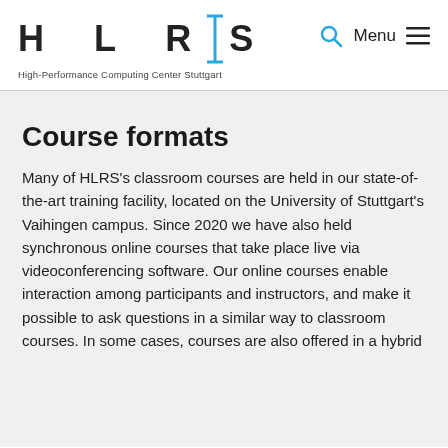HLRS — High-Performance Computing Center Stuttgart
Course formats
Many of HLRS's classroom courses are held in our state-of-the-art training facility, located on the University of Stuttgart's Vaihingen campus. Since 2020 we have also held synchronous online courses that take place live via videoconferencing software. Our online courses enable interaction among participants and instructors, and make it possible to ask questions in a similar way to classroom courses. In some cases, courses are also offered in a hybrid